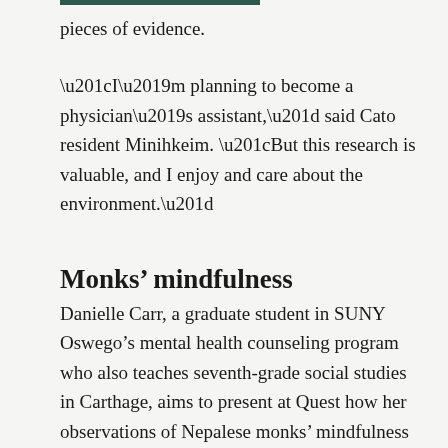pieces of evidence.
“I’m planning to become a physician’s assistant,” said Cato resident Minihkeim. “But this research is valuable, and I enjoy and care about the environment.”
Monks’ mindfulness
Danielle Carr, a graduate student in SUNY Oswego’s mental health counseling program who also teaches seventh-grade social studies in Carthage, aims to present at Quest how her observations of Nepalese monks’ mindfulness have augmented her coursework and clinical